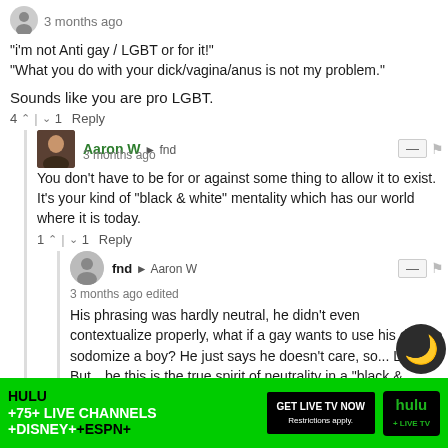3 months ago
"i'm not Anti gay / LGBT or for it!" "What you do with your dick/vagina/anus is not my problem."
Sounds like you are pro LGBT.
4 ↑ | ↓ 1   Reply
Aaron W → fnd
3 months ago
You don't have to be for or against some thing to allow it to exist. It's your kind of "black & white" mentality which has our world where it is today.
1 ↑ | ↓ 1   Reply
fnd → Aaron W
3 months ago edited
His phrasing was hardly neutral, he didn't even contextualize properly, what if a gay wants to use his d*ck to sodomize a boy? He just says he doesn't care, so... LGBT? But be this is the true spirit of neutrality in a "black & white" be it ga sod ome, then
[Figure (infographic): Hulu advertisement banner: green background, HULU +75+LIVE CHANNELS +DISNEY++ESPN+, GET LIVE TV NOW button, hulu+live tv logo, night mode icon overlay]